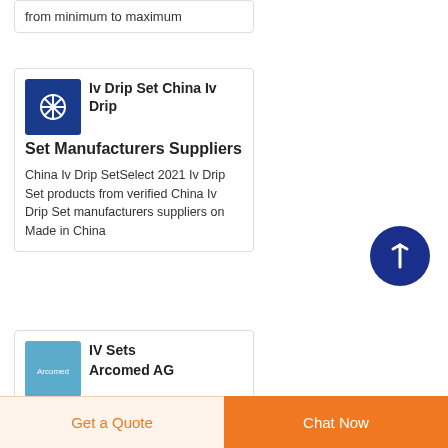from minimum to maximum
Iv Drip Set China Iv Drip Set Manufacturers Suppliers
China Iv Drip SetSelect 2021 Iv Drip Set products from verified China Iv Drip Set manufacturers suppliers on Made in China
[Figure (logo): Blue square logo with white asterisk/star icon for IV drip set manufacturer]
[Figure (logo): Light blue square logo with Arcomed AG branding]
IV Sets Arcomed AG
[Figure (other): Dark blue circular scroll-to-top button with upward arrow]
Get a Quote
Chat Now